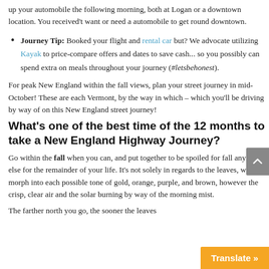up your automobile the following morning, both at Logan or a downtown location. You received't want or need a automobile to get round downtown.
Journey Tip: Booked your flight and rental car but? We advocate utilizing Kayak to price-compare offers and dates to save cash... so you possibly can spend extra on meals throughout your journey (#letsbehonest).
For peak New England within the fall views, plan your street journey in mid-October! These are each Vermont, by the way in which – which you'll be driving by way of on this New England street journey!
What's one of the best time of the 12 months to take a New England Highway Journey?
Go within the fall when you can, and put together to be spoiled for fall anyplace else for the remainder of your life. It's not solely in regards to the leaves, which morph into each possible tone of gold, orange, purple, and brown, however the crisp, clear air and the solar burning by way of the morning mist.
The farther north you go, the sooner the leaves…